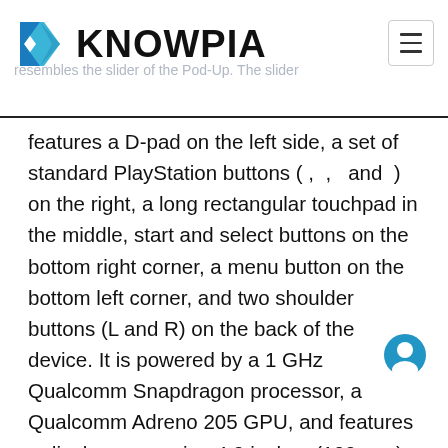KNOWPIA
features a D-pad on the left side, a set of standard PlayStation buttons ( ,  ,  and  ) on the right, a long rectangular touchpad in the middle, start and select buttons on the bottom right corner, a menu button on the bottom left corner, and two shoulder buttons (L and R) on the back of the device. It is powered by a 1 GHz Qualcomm Snapdragon processor, a Qualcomm Adreno 205 GPU, and features a display measuring 4.0 inches (100 mm) (854 × 480), an 8-megapixel camera, 512 MB RAM, 8 GB internal storage, and a micro-USB connector. It supports microSD cards, versus the Memory Stick variants used in PSP consoles. The device was revealed officially for the first time in a Super Bowl ad on Sunday, February 6, 2011. On February 13, 2011,